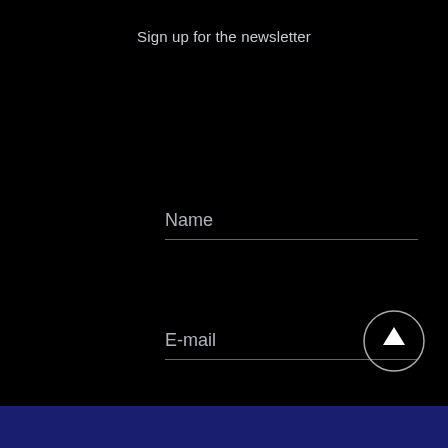Sign up for the newsletter
Name
E-mail
send
[Figure (illustration): Circle button with upward arrow for scroll to top]